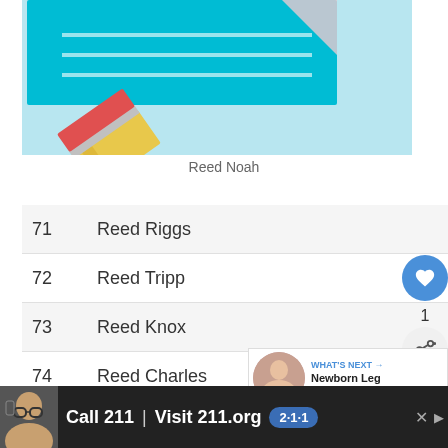[Figure (illustration): Illustration of a pencil on a light blue background with a teal notebook/paper in the upper left corner]
Reed Noah
71   Reed Riggs
72   Reed Tripp
73   Reed Knox
74   Reed Charles
75   Reed Justin
76   Reed Colt
[Figure (infographic): What's Next promo: Newborn Leg Shaking: Wh...]
[Figure (infographic): Advertisement bar: Call 211 | Visit 211.org with 2-1-1 badge]